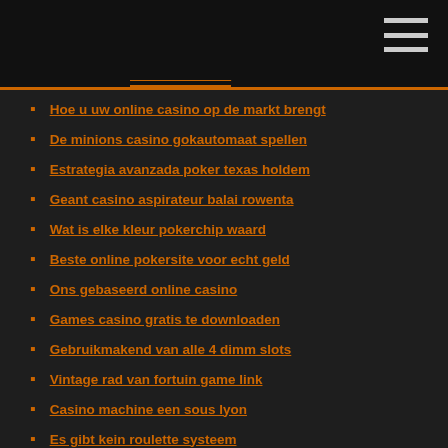Hoe u uw online casino op de markt brengt
De minions casino gokautomaat spellen
Estrategia avanzada poker texas holdem
Geant casino aspirateur balai rowenta
Wat is elke kleur pokerchip waard
Beste online pokersite voor echt geld
Ons gebaseerd online casino
Games casino gratis te downloaden
Gebruikmakend van alle 4 dimm slots
Vintage rad van fortuin game link
Casino machine een sous lyon
Es gibt kein roulette systeem
Online texas holdem niet echt geld
Zak een roulette 60 cm